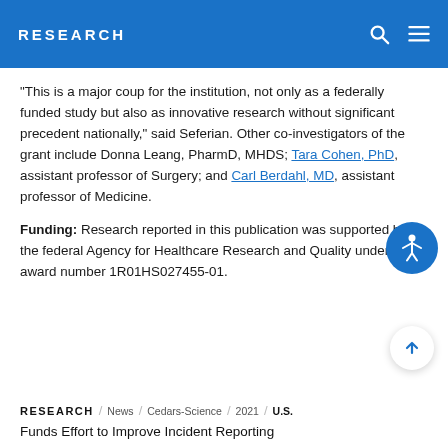RESEARCH
"This is a major coup for the institution, not only as a federally funded study but also as innovative research without significant precedent nationally," said Seferian. Other co-investigators of the grant include Donna Leang, PharmD, MHDS; Tara Cohen, PhD, assistant professor of Surgery; and Carl Berdahl, MD, assistant professor of Medicine.
Funding: Research reported in this publication was supported by the federal Agency for Healthcare Research and Quality under award number 1R01HS027455-01.
RESEARCH / News / Cedars-Science / 2021 / U.S. Funds Effort to Improve Incident Reporting